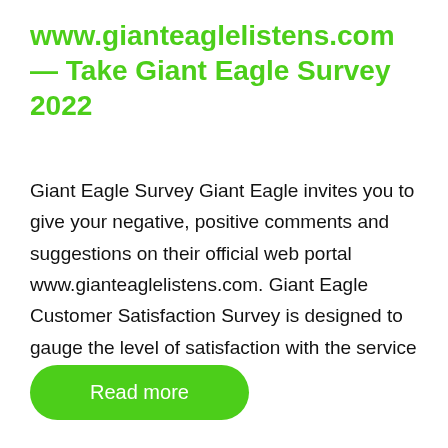www.gianteaglelistens.com — Take Giant Eagle Survey 2022
Giant Eagle Survey Giant Eagle invites you to give your negative, positive comments and suggestions on their official web portal www.gianteaglelistens.com. Giant Eagle Customer Satisfaction Survey is designed to gauge the level of satisfaction with the service …
Read more